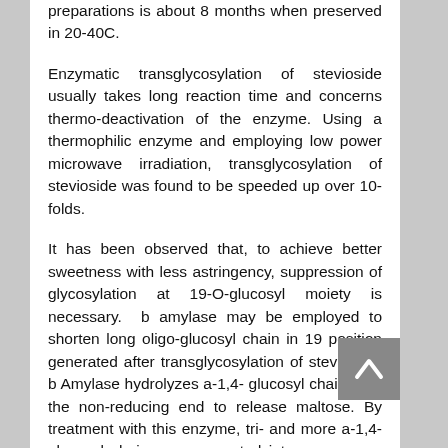preparations is about 8 months when preserved in 20-40C.
Enzymatic transglycosylation of stevioside usually takes long reaction time and concerns thermo-deactivation of the enzyme. Using a thermophilic enzyme and employing low power microwave irradiation, transglycosylation of stevioside was found to be speeded up over 10-folds.
It has been observed that, to achieve better sweetness with less astringency, suppression of glycosylation at 19-O-glucosyl moiety is necessary. b amylase may be employed to shorten long oligo-glucosyl chain in 19 position generated after transglycosylation of stevioside. b Amylase hydrolyzes a-1,4- glucosyl chain from the non-reducing end to release maltose. By treatment with this enzyme, tri- and more a-1,4-glucosyl chains are converted into a mono- or di-a-1,4-glucosyl chain. Since decrease of sweetness was observed for products